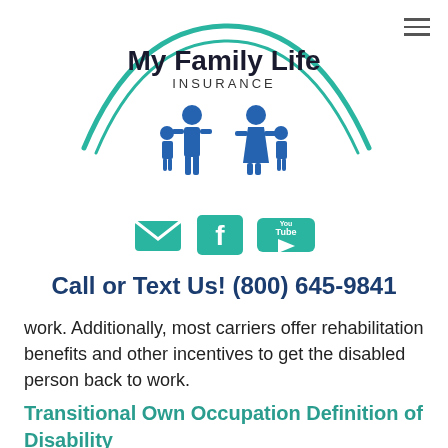[Figure (logo): My Family Life Insurance logo with teal arc, blue family figures, bold text 'My Family Life' and 'INSURANCE' subtitle]
[Figure (infographic): Three social media icons: email envelope (teal), Facebook (teal), YouTube (teal)]
Call or Text Us! (800) 645-9841
work. Additionally, most carriers offer rehabilitation benefits and other incentives to get the disabled person back to work.
Transitional Own Occupation Definition of Disability